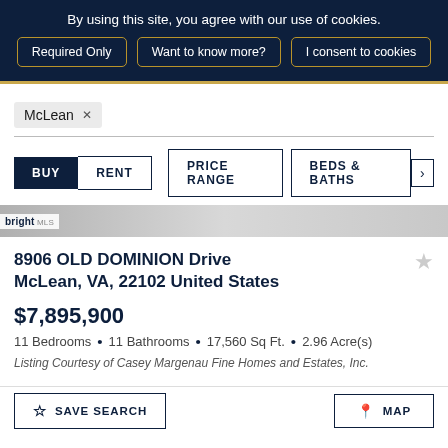By using this site, you agree with our use of cookies.
Required Only
Want to know more?
I consent to cookies
McLean ×
BUY   RENT   PRICE RANGE   BEDS & BATHS   ›
8906 OLD DOMINION Drive McLean, VA, 22102 United States
$7,895,900
11 Bedrooms • 11 Bathrooms • 17,560 Sq Ft. • 2.96 Acre(s)
Listing Courtesy of Casey Margenau Fine Homes and Estates, Inc.
SAVE SEARCH
MAP